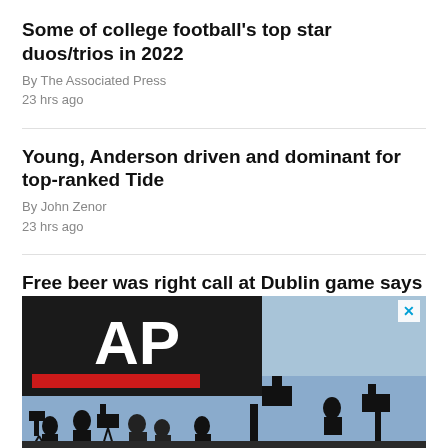Some of college football's top star duos/trios in 2022
By The Associated Press
23 hrs ago
Young, Anderson driven and dominant for top-ranked Tide
By John Zenor
23 hrs ago
Free beer was right call at Dublin game says catering firm
By Ken Maguire
Aug. 28, 2022 11:37 AM EDT
[Figure (photo): AP News advertisement showing silhouettes of media camera crews against a blue sky background, with the AP logo (white letters on black/red background) in the upper left, and a close button (X) in the upper right.]